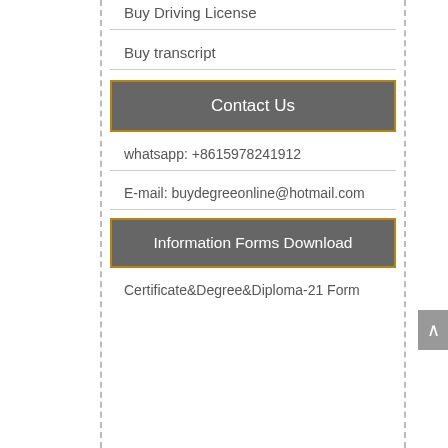Buy Driving License
Buy transcript
Contact Us
whatsapp: +8615978241912
E-mail: buydegreeonline@hotmail.com
Information Forms Download
Certificate&Degree&Diploma-21 Form